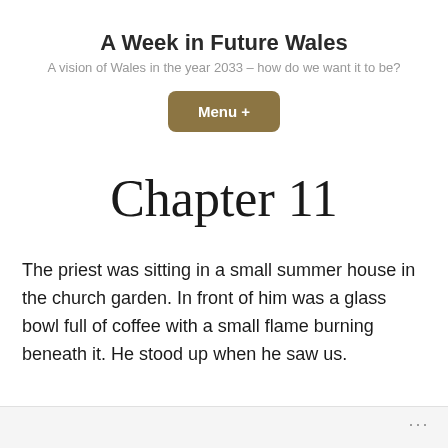A Week in Future Wales
A vision of Wales in the year 2033 – how do we want it to be?
[Figure (other): Menu button with label 'Menu +']
Chapter 11
The priest was sitting in a small summer house in the church garden. In front of him was a glass bowl full of coffee with a small flame burning beneath it. He stood up when he saw us.
...